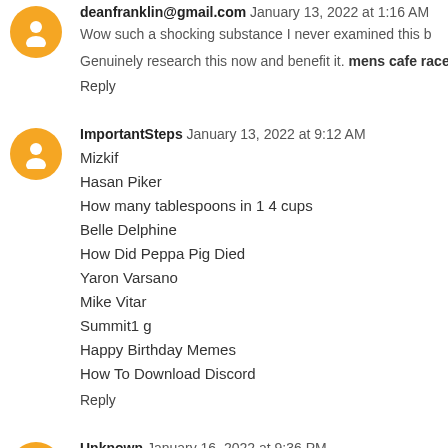deanfranklin@gmail.com January 13, 2022 at 1:16 AM
Wow such a shocking substance I never examined this b Genuinely research this now and benefit it. mens cafe race
Reply
ImportantSteps January 13, 2022 at 9:12 AM
Mizkif
Hasan Piker
How many tablespoons in 1 4 cups
Belle Delphine
How Did Peppa Pig Died
Yaron Varsano
Mike Vitar
Summit1 g
Happy Birthday Memes
How To Download Discord
Reply
Unknown January 16, 2022 at 9:36 PM
Hello, I'm happy to see some great articles on your site. W comments and communities similar to yours. Please visit a
Reply